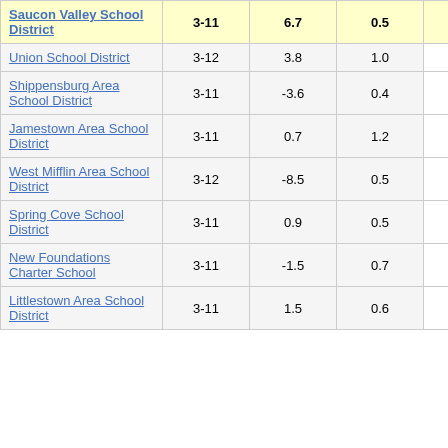| School District | Grades | Col3 | Col4 | Score |
| --- | --- | --- | --- | --- |
| Saucon Valley School District | 3-11 | 6.7 | 0.5 | 12.55 |
| Union School District | 3-12 | 3.8 | 1.0 | 3.85 |
| Shippensburg Area School District | 3-11 | -3.6 | 0.4 | -8.90 |
| Jamestown Area School District | 3-11 | 0.7 | 1.2 | 0.63 |
| West Mifflin Area School District | 3-12 | -8.5 | 0.5 | -17.73 |
| Spring Cove School District | 3-11 | 0.9 | 0.5 | 1.67 |
| New Foundations Charter School | 3-11 | -1.5 | 0.7 | -2.10 |
| Littlestown Area School District | 3-11 | 1.5 | 0.6 | 2.76 |